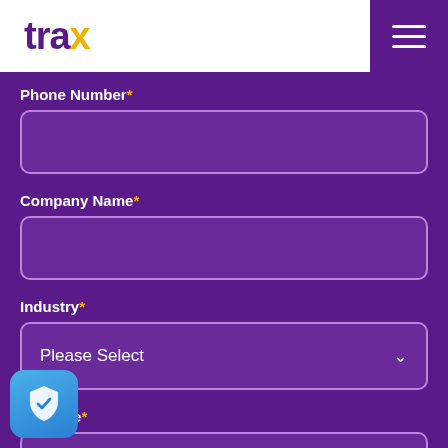trax
Phone Number*
Company Name*
Industry*
Please Select
Job Title*
[Figure (illustration): Security shield badge icon with checkmark, blue gradient background]